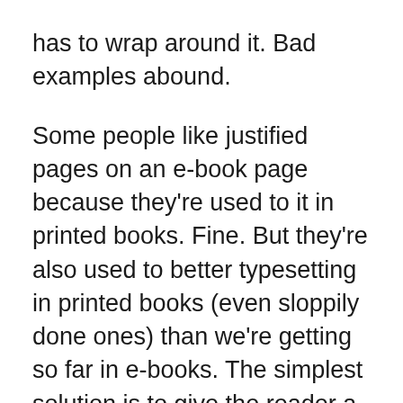has to wrap around it. Bad examples abound.
Some people like justified pages on an e-book page because they're used to it in printed books. Fine. But they're also used to better typesetting in printed books (even sloppily done ones) than we're getting so far in e-books. The simplest solution is to give the reader a choice: justified or unjustified. And make the default unjustified. A ragged right-hand edge is easier to read than a ragged middle that's full of holes.
The ideal solution, of course, is to have a good H&J system built into the e-book